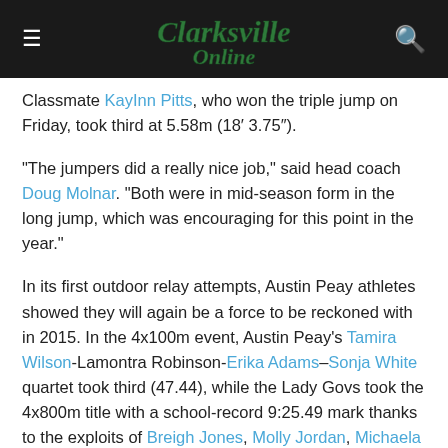Clarksville Online
Classmate Kaylnn Pitts, who won the triple jump on Friday, took third at 5.58m (18’ 3.75”).
“The jumpers did a really nice job,” said head coach Doug Molnar. “Both were in mid-season form in the long jump, which was encouraging for this point in the year.”
In its first outdoor relay attempts, Austin Peay athletes showed they will again be a force to be reckoned with in 2015. In the 4x100m event, Austin Peay’s Tamira Wilson-Lamontra Robinson-Erika Adams–Sonja White quartet took third (47.44), while the Lady Govs took the 4x800m title with a school-record 9:25.49 mark thanks to the exploits of Breigh Jones, Molly Jordan, Michaela McGhee and Jessica Gray.